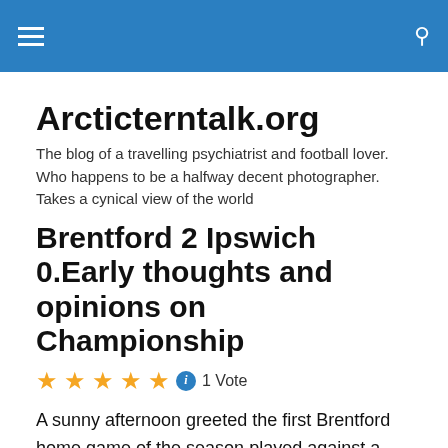Arcticterntalk.org — navigation header bar
Arcticterntalk.org
The blog of a travelling psychiatrist and football lover. Who happens to be a halfway decent photographer. Takes a cynical view of the world
Brentford 2 Ipswich 0.Early thoughts and opinions on Championship
★★★★★ ℹ 1 Vote
A sunny afternoon greeted the first Brentford home game of the season played against a team that Brentford normally respect however with the bad taste left in the